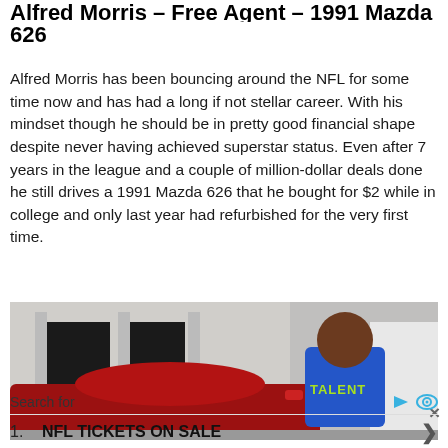Alfred Morris – Free Agent – 1991 Mazda 626
Alfred Morris has been bouncing around the NFL for some time now and has had a long if not stellar career. With his mindset though he should be in pretty good financial shape despite never having achieved superstar status. Even after 7 years in the league and a couple of million-dollar deals done he still drives a 1991 Mazda 626 that he bought for $2 while in college and only last year had refurbished for the very first time.
[Figure (photo): Alfred Morris standing next to a red car in a parking area, wearing a blue shirt that says TALENT]
Search for
NFL TICKETS ON SALE